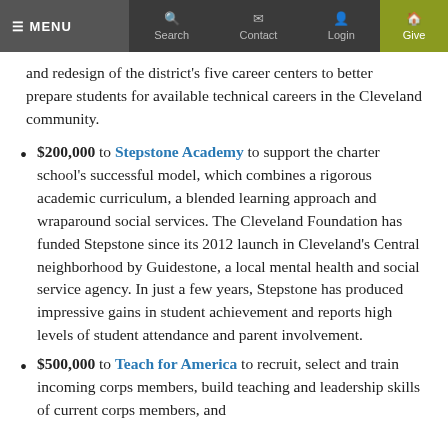MENU | Search | Contact | Login | Give
and redesign of the district's five career centers to better prepare students for available technical careers in the Cleveland community.
$200,000 to Stepstone Academy to support the charter school's successful model, which combines a rigorous academic curriculum, a blended learning approach and wraparound social services. The Cleveland Foundation has funded Stepstone since its 2012 launch in Cleveland's Central neighborhood by Guidestone, a local mental health and social service agency. In just a few years, Stepstone has produced impressive gains in student achievement and reports high levels of student attendance and parent involvement.
$500,000 to Teach for America to recruit, select and train incoming corps members, build teaching and leadership skills of current corps members, and